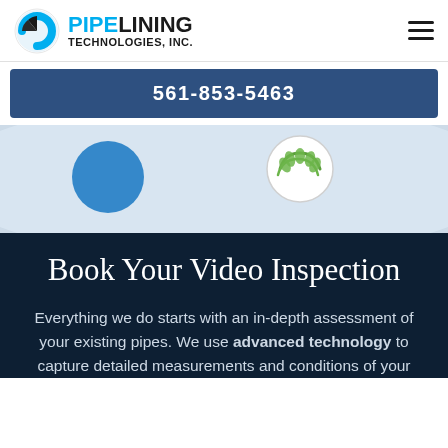PIPE LINING TECHNOLOGIES, INC.
561-853-5463
[Figure (screenshot): Hero image showing certification badges/logos — a blue circle and a green laurel wreath badge on a light background]
Book Your Video Inspection
Everything we do starts with an in-depth assessment of your existing pipes. We use advanced technology to capture detailed measurements and conditions of your